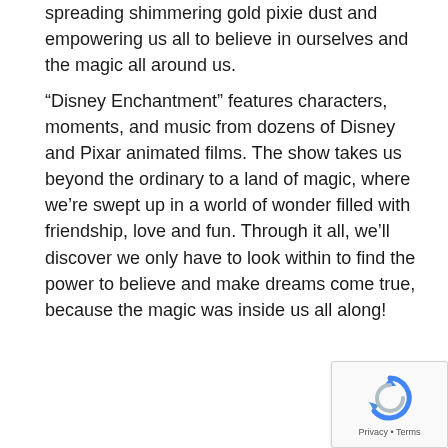spreading shimmering gold pixie dust and empowering us all to believe in ourselves and the magic all around us.
“Disney Enchantment” features characters, moments, and music from dozens of Disney and Pixar animated films. The show takes us beyond the ordinary to a land of magic, where we’re swept up in a world of wonder filled with friendship, love and fun. Through it all, we’ll discover we only have to look within to find the power to believe and make dreams come true, because the magic was inside us all along!
[Figure (other): reCAPTCHA widget with circular arrow logo and Privacy - Terms text]